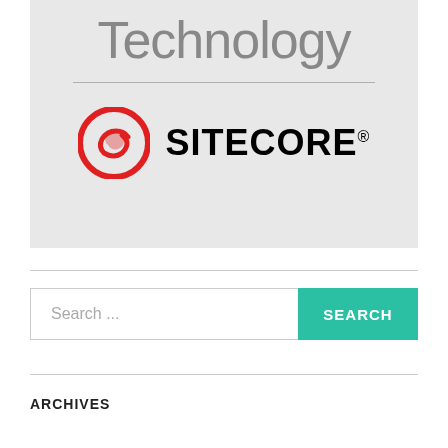[Figure (logo): Sitecore logo with red circle icon and bold black SITECORE text on a light gray banner background, with 'Technology' text above and a horizontal rule]
Search ...
SEARCH
ARCHIVES